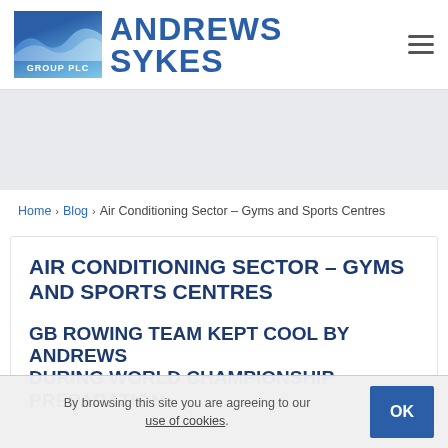[Figure (logo): Andrews Sykes Group PLC logo with wave graphic and blue branding]
[Figure (other): Gray banner/hero image area]
Home > Blog > Air Conditioning Sector – Gyms and Sports Centres
AIR CONDITIONING SECTOR – GYMS AND SPORTS CENTRES
GB ROWING TEAM KEPT COOL BY ANDREWS DURING WORLD CHAMPIONSHIP PREPARATION
By browsing this site you are agreeing to our use of cookies.